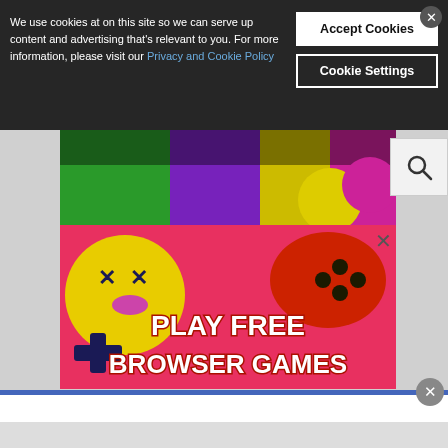We use cookies at on this site so we can serve up content and advertising that's relevant to you. For more information, please visit our Privacy and Cookie Policy
[Figure (screenshot): Cookie consent banner overlay on Sherdog website with Accept Cookies and Cookie Settings buttons]
[Figure (screenshot): Advertisement banner: Play Free Browser Games - colorful image with yellow skull character and red game controller on pink background]